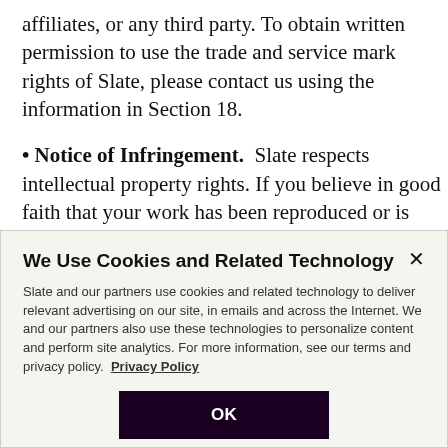affiliates, or any third party. To obtain written permission to use the trade and service mark rights of Slate, please contact us using the information in Section 18.
• Notice of Infringement. Slate respects intellectual property rights. If you believe in good faith that your work has been reproduced or is accessible on the Services in a manner that violates your copyright...
We Use Cookies and Related Technology
Slate and our partners use cookies and related technology to deliver relevant advertising on our site, in emails and across the Internet. We and our partners also use these technologies to personalize content and perform site analytics. For more information, see our terms and privacy policy. Privacy Policy